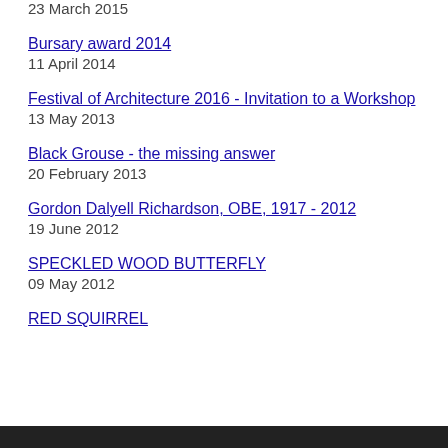23 March 2015
Bursary award 2014
11 April 2014
Festival of Architecture 2016 - Invitation to a Workshop
13 May 2013
Black Grouse - the missing answer
20 February 2013
Gordon Dalyell Richardson, OBE, 1917 - 2012
19 June 2012
SPECKLED WOOD BUTTERFLY
09 May 2012
RED SQUIRREL